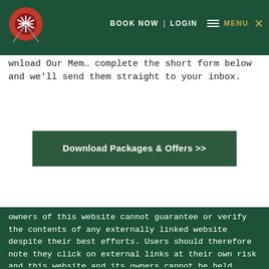BOOK NOW | LOGIN | MENU
wnload Our Mem... complete the short form below and we'll send them straight to your inbox.
[Figure (other): Download Packages & Offers >> button]
owners of this website cannot guarantee or verify the contents of any externally linked website despite their best efforts. Users should therefore note they click on external links at their own risk and this website and its owners cannot be held liable for any damages or implications caused by visiting any external links mentioned.
SPONSORED LINKS
This website may contain sponsored links and adverts. These will typically be served through our